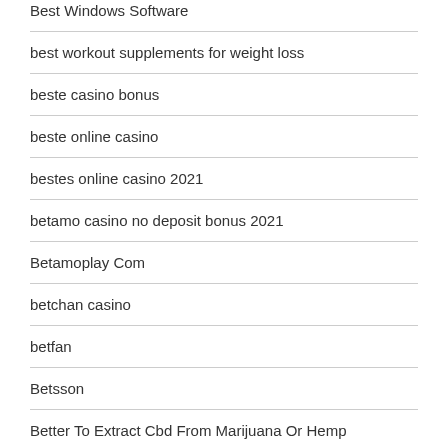Best Windows Software
best workout supplements for weight loss
beste casino bonus
beste online casino
bestes online casino 2021
betamo casino no deposit bonus 2021
Betamoplay Com
betchan casino
betfan
Betsson
Better To Extract Cbd From Marijuana Or Hemp
Bettilt